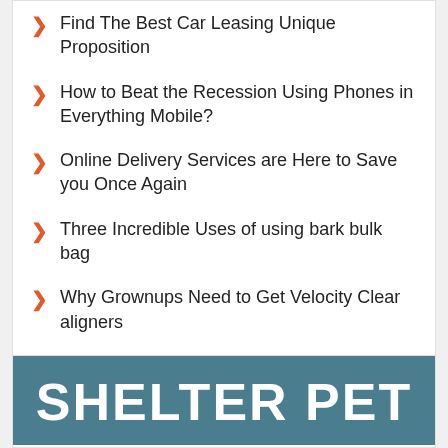Find The Best Car Leasing Unique Proposition
How to Beat the Recession Using Phones in Everything Mobile?
Online Delivery Services are Here to Save you Once Again
Three Incredible Uses of using bark bulk bag
Why Grownups Need to Get Velocity Clear aligners
Wonderful Tips for Failed Hard Drive Tampa Data Recovery
Fundamental Security Features in Choosing TikTok Video Downloader
[Figure (illustration): Shelter Pet banner image with teal/blue-grey background and bold white text reading SHELTER PET]